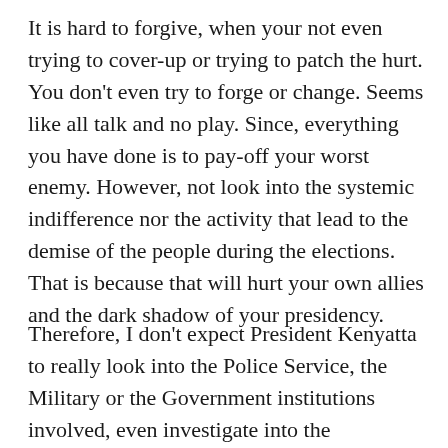It is hard to forgive, when your not even trying to cover-up or trying to patch the hurt. You don't even try to forge or change. Seems like all talk and no play. Since, everything you have done is to pay-off your worst enemy. However, not look into the systemic indifference nor the activity that lead to the demise of the people during the elections. That is because that will hurt your own allies and the dark shadow of your presidency.
Therefore, I don't expect President Kenyatta to really look into the Police Service, the Military or the Government institutions involved, even investigate into the Cambridge Analytica, the tenders of electoral frauds and